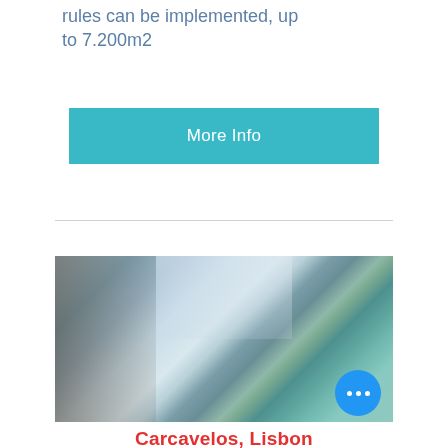rules can be implemented, up to 7.200m2
More Info
[Figure (photo): Blurred photograph of a luxury property with a swimming pool, palm trees, and modern architecture against a blue sky. A blue circular button with three dots appears in the lower right corner of the image.]
Carcavelos, Lisbon